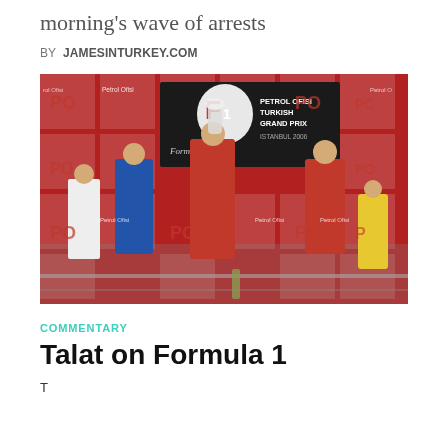morning's wave of arrests
BY JAMESINTURKEY.COM
[Figure (photo): Formula 1 podium ceremony at the Petrol Ofisi Turkish Grand Prix, Istanbul 2006. A Ferrari driver in red holds a trophy aloft, flanked by a Renault driver in blue and another Ferrari driver. Officials and a woman in yellow are also visible. Red and white Petrol Ofisi (PO) sponsor banners cover the background. The Formula 1 logo and event title board are visible.]
COMMENTARY
Talat on Formula 1
T...